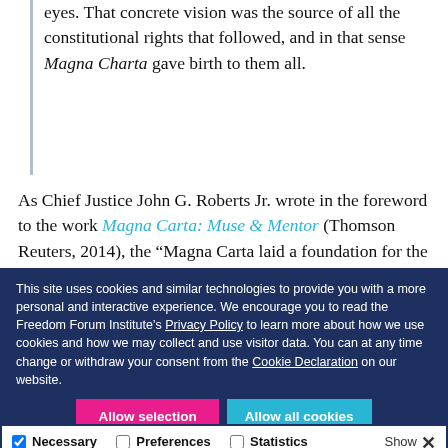eyes. That concrete vision was the source of all the constitutional rights that followed, and in that sense Magna Charta gave birth to them all.
As Chief Justice John G. Roberts Jr. wrote in the foreword to the work Magna Carta: Muse & Mentor (Thomson Reuters, 2014), the “Magna Carta laid a foundation for the ascent of liberty and the rule of law.”
It also breathed vigor into the idea of petitioning for a
This site uses cookies and similar technologies to provide you with a more personal and interactive experience. We encourage you to read the Freedom Forum Institute’s Privacy Policy to learn more about how we use cookies and how we may collect and use visitor data. You can at any time change or withdraw your consent from the Cookie Declaration on our website.
Allow selection | Allow all cookies
Necessary | Preferences | Statistics | Marketing | Show details